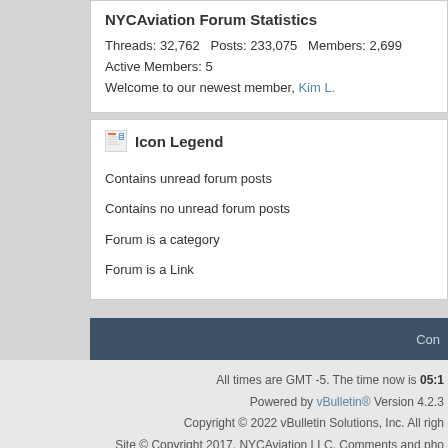NYCAviation Forum Statistics
Threads: 32,762   Posts: 233,075   Members: 2,699
Active Members: 5
Welcome to our newest member, Kim L.
Icon Legend
Contains unread forum posts
Contains no unread forum posts
Forum is a category
Forum is a Link
Con
All times are GMT -5. The time now is 05:1
Powered by vBulletin® Version 4.2.3
Copyright © 2022 vBulletin Solutions, Inc. All righ
Site © Copyright 2017, NYCAviation LLC. Comments and pho